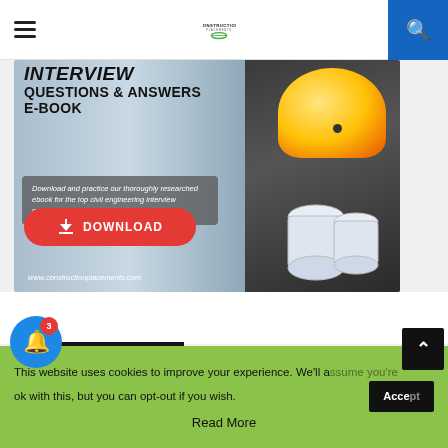Construction Placements
[Figure (illustration): Banner promoting an Interview Questions & Answers E-Book for civil engineering, with a download button, a person wearing a yellow hard hat holding blueprint rolls, and construction site background. URL www.constructionplacements.com shown at bottom.]
JOBBOARD MENU
This website uses cookies to improve your experience. We'll assume you're ok with this, but you can opt-out if you wish. Read More